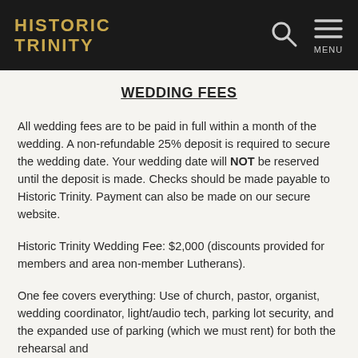HISTORIC TRINITY
WEDDING FEES
All wedding fees are to be paid in full within a month of the wedding. A non-refundable 25% deposit is required to secure the wedding date. Your wedding date will NOT be reserved until the deposit is made. Checks should be made payable to Historic Trinity. Payment can also be made on our secure website.
Historic Trinity Wedding Fee: $2,000 (discounts provided for members and area non-member Lutherans).
One fee covers everything: Use of church, pastor, organist, wedding coordinator, light/audio tech, parking lot security, and the expanded use of parking (which we must rent) for both the rehearsal and